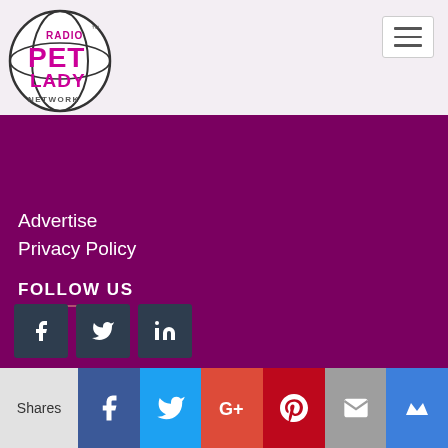[Figure (logo): Radio Pet Lady Network circular logo with pink text on white background]
Advertise
Privacy Policy
FOLLOW US
[Figure (infographic): Social media icons: Facebook, Twitter, LinkedIn on dark teal square buttons]
LATEST TWEETS
@TracieHotchner
Director, Aaron Hancox, talks about his documentary film
Shares